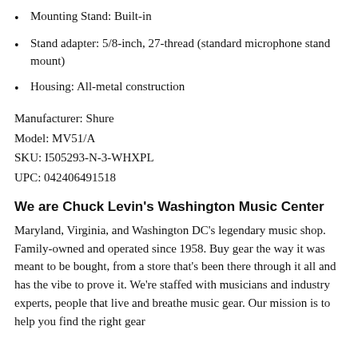Mounting Stand: Built-in
Stand adapter: 5/8-inch, 27-thread (standard microphone stand mount)
Housing: All-metal construction
Manufacturer: Shure
Model: MV51/A
SKU: I505293-N-3-WHXPL
UPC: 042406491518
We are Chuck Levin's Washington Music Center
Maryland, Virginia, and Washington DC's legendary music shop. Family-owned and operated since 1958. Buy gear the way it was meant to be bought, from a store that's been there through it all and has the vibe to prove it. We're staffed with musicians and industry experts, people that live and breathe music gear. Our mission is to help you find the right gear